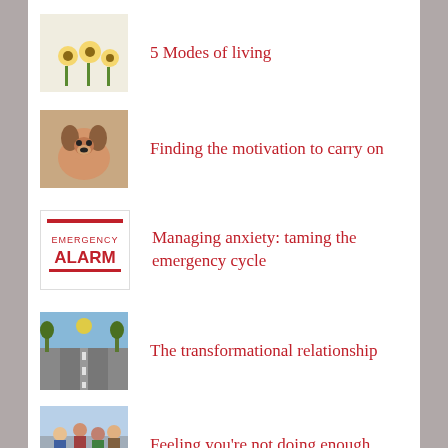5 Modes of living
Finding the motivation to carry on
Managing anxiety: taming the emergency cycle
The transformational relationship
Feeling you're not doing enough
ARCHIVE